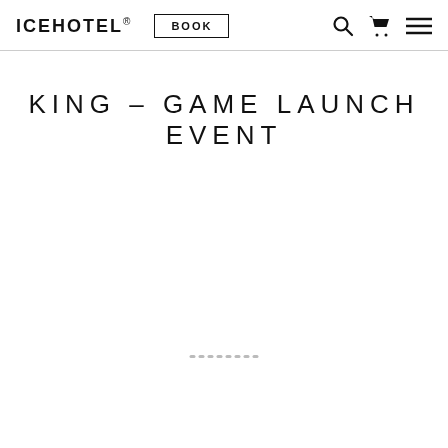ICEHOTEL® BOOK
KING – GAME LAUNCH EVENT